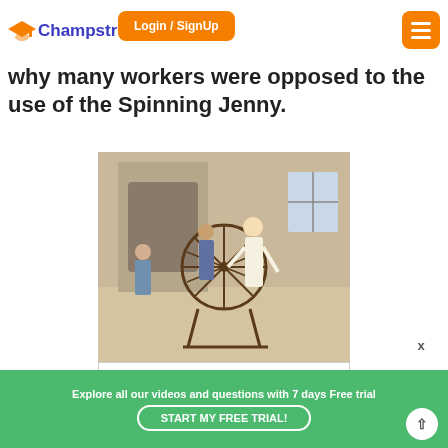Champstreet — Login / SignUp
why many workers were opposed to the use of the Spinning Jenny.
[Figure (illustration): Historical illustration of spinning in the eighteenth century, showing a woman operating a spinning wheel in a domestic interior with a fireplace and other family members present.]
Fig. 3 – Spinning in the eighteenth century. You can see each member of the family involved in the
Explore all our videos and questions with 7 days Free trial
START MY FREE TRIAL!